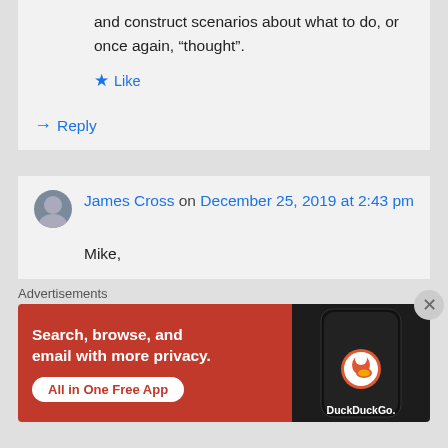and construct scenarios about what to do, or once again, “thought”.
Like
Reply
James Cross on December 25, 2019 at 2:43 pm
Mike,
Advertisements
[Figure (illustration): DuckDuckGo advertisement banner: orange/red background with text 'Search, browse, and email with more privacy. All in One Free App' and an image of a dark smartphone with the DuckDuckGo logo]